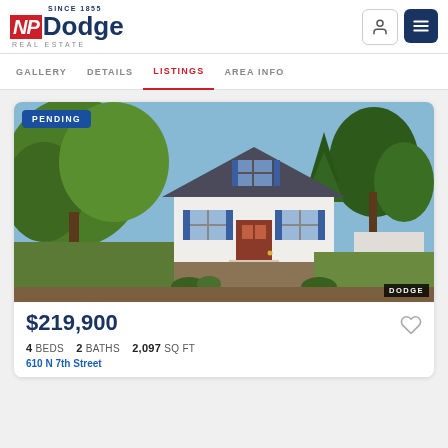NP Dodge Real Estate — Since 1855
GALLERY   DETAILS   LISTINGS   AREA INFO
[Figure (photo): Exterior photo of a white two-story house with dark shutters, front porch, surrounded by mature trees, brown and green lawn. PENDING badge in top-left corner. DODGE watermark in bottom-right corner.]
$219,900
4 BEDS   2 BATHS   2,097 SQ FT
610 N 7th Street